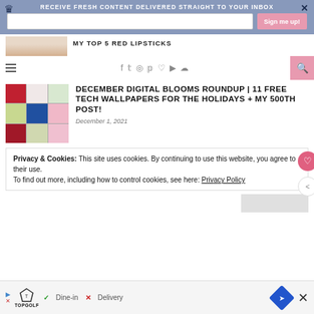RECEIVE FRESH CONTENT DELIVERED STRAIGHT TO YOUR INBOX
[Figure (screenshot): Email newsletter signup bar with crown logo, text input field, Sign me up! button, and close X]
[Figure (photo): Partial article image showing hands or body with light background]
MY TOP 5 RED LIPSTICKS
[Figure (screenshot): Navigation bar with hamburger menu, social icons (facebook, twitter, instagram, pinterest, heart, youtube, rss), and pink search button]
[Figure (photo): Collage thumbnail of holiday/Christmas themed images in 3x3 grid]
DECEMBER DIGITAL BLOOMS ROUNDUP | 11 FREE TECH WALLPAPERS FOR THE HOLIDAYS + MY 500TH POST!
December 1, 2021
Privacy & Cookies: This site uses cookies. By continuing to use this website, you agree to their use.
To find out more, including how to control cookies, see here: Privacy Policy
[Figure (screenshot): Ad banner for TopGolf with Dine-in checkmark and Delivery cross options, navigation diamond icon, and close button]